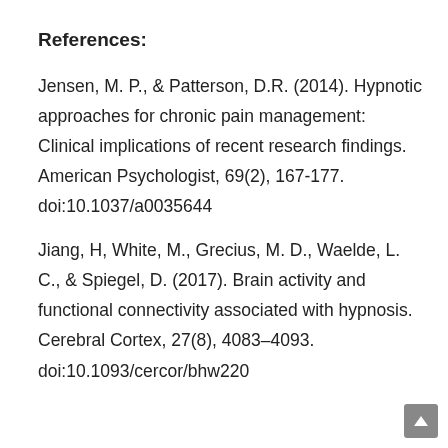References:
Jensen, M. P., & Patterson, D.R. (2014). Hypnotic approaches for chronic pain management: Clinical implications of recent research findings. American Psychologist, 69(2), 167-177. doi:10.1037/a0035644
Jiang, H, White, M., Grecius, M. D., Waelde, L. C., & Spiegel, D. (2017). Brain activity and functional connectivity associated with hypnosis. Cerebral Cortex, 27(8), 4083–4093. doi:10.1093/cercor/bhw220